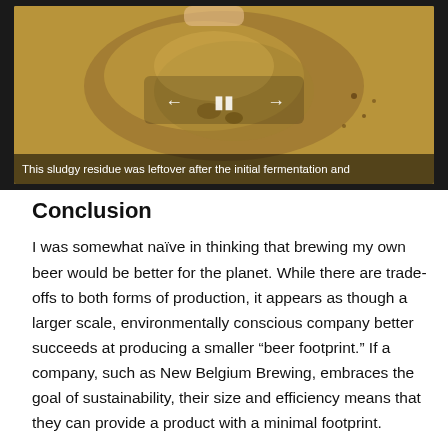[Figure (photo): Video player showing a sludgy brown/tan residue (leftover after initial fermentation) held by fingers, with playback controls (back, pause, forward) overlaid in white. A caption bar at the bottom reads: 'This sludgy residue was leftover after the initial fermentation and']
Conclusion
I was somewhat naïve in thinking that brewing my own beer would be better for the planet. While there are trade-offs to both forms of production, it appears as though a larger scale, environmentally conscious company better succeeds at producing a smaller “beer footprint.” If a company, such as New Belgium Brewing, embraces the goal of sustainability, their size and efficiency means that they can provide a product with a minimal footprint.